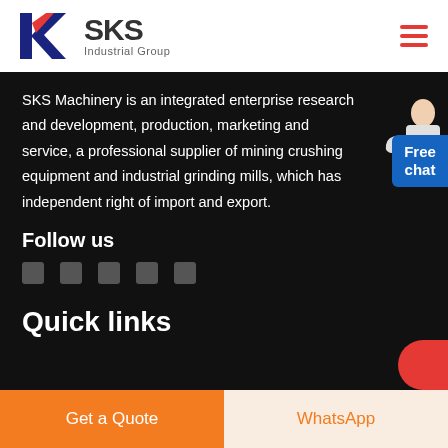[Figure (logo): SKS Industrial Group logo with K letter mark in red and blue, and text 'SKS Industrial Group']
SKS Machinery is an integrated enterprise research and development, production, marketing and service, a professional supplier of mining crushing equipment and industrial grinding mills, which has independent right of import and export.
Follow us
[Figure (illustration): Five social media icon placeholders in a row]
Quick links
[Figure (illustration): Free chat badge with customer service representative illustration]
Get a Quote
WhatsApp